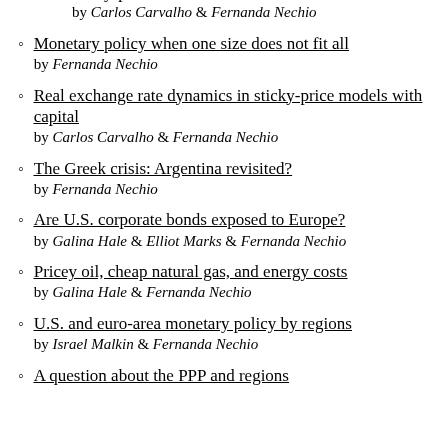sticky-price model by Carlos Carvalho & Fernanda Nechio
Monetary policy when one size does not fit all by Fernanda Nechio
Real exchange rate dynamics in sticky-price models with capital by Carlos Carvalho & Fernanda Nechio
The Greek crisis: Argentina revisited? by Fernanda Nechio
Are U.S. corporate bonds exposed to Europe? by Galina Hale & Elliot Marks & Fernanda Nechio
Pricey oil, cheap natural gas, and energy costs by Galina Hale & Fernanda Nechio
U.S. and euro-area monetary policy by regions by Israel Malkin & Fernanda Nechio
A question about the PPP and regions...